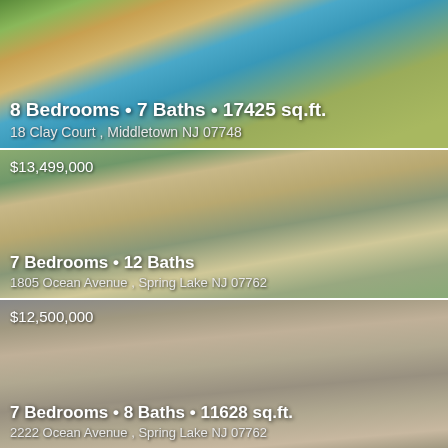[Figure (photo): Aerial view of large luxury home with pool, surrounded by trees]
8 Bedrooms • 7 Baths • 17425 sq.ft.
18 Clay Court , Middletown NJ 07748
[Figure (photo): Aerial view of large coastal shingle-style mansion]
$13,499,000
7 Bedrooms • 12 Baths
1805 Ocean Avenue , Spring Lake NJ 07762
[Figure (photo): Aerial view of large stone estate with outdoor kitchen and fireplace]
$12,500,000
7 Bedrooms • 8 Baths • 11628 sq.ft.
2222 Ocean Avenue , Spring Lake NJ 07762
[Figure (photo): Waterfront property with lake and trees in background]
$11,000,000